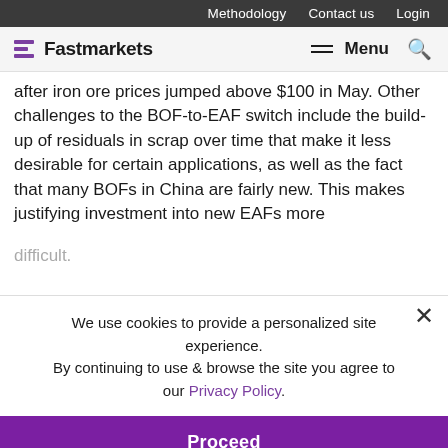Methodology   Contact us   Login
Fastmarkets   Menu
after iron ore prices jumped above $100 in May. Other challenges to the BOF-to-EAF switch include the build-up of residuals in scrap over time that make it less desirable for certain applications, as well as the fact that many BOFs in China are fairly new. This makes justifying investment into new EAFs more difficult.
Operating margins depending on procurement strategies... Chinese steelmaking margins were squeezed last year but recovered somewhat in the last quarter due
We use cookies to provide a personalized site experience. By continuing to use & browse the site you agree to our Privacy Policy.
Proceed